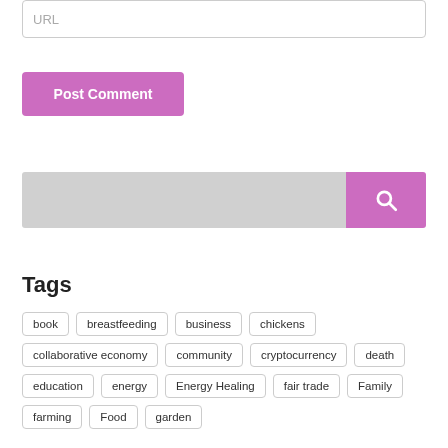URL
Post Comment
[Figure (other): Search bar with pink search button and magnifying glass icon]
Tags
book
breastfeeding
business
chickens
collaborative economy
community
cryptocurrency
death
education
energy
Energy Healing
fair trade
Family
farming
Food
garden